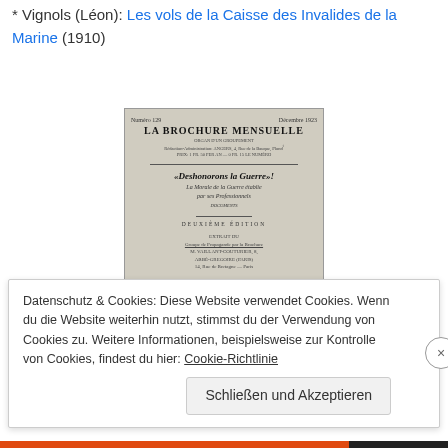* Vignols (Léon): Les vols de la Caisse des Invalides de la Marine (1910)
[Figure (photo): Photograph of a book cover titled 'LA BROCHURE MENSUELLE' featuring the headline '«Deshonorons la Guerre»!' and subtitle 'La Morale de la Guerre établie par ses Professionnels', second edition, published by Groupe de Propagande par la Brochure.]
Datenschutz & Cookies: Diese Website verwendet Cookies. Wenn du die Website weiterhin nutzt, stimmst du der Verwendung von Cookies zu. Weitere Informationen, beispielsweise zur Kontrolle von Cookies, findest du hier: Cookie-Richtlinie
Schließen und Akzeptieren